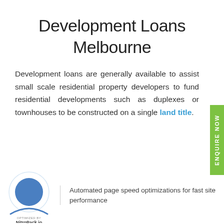Development Loans Melbourne
Development loans are generally available to assist small scale residential property developers to fund residential developments such as duplexes or townhouses to be constructed on a single land title.
[Figure (logo): NitroPack.io logo with blue circle and arc graphic, labelled OPTIMIZED BY NitroPack.io]
Automated page speed optimizations for fast site performance